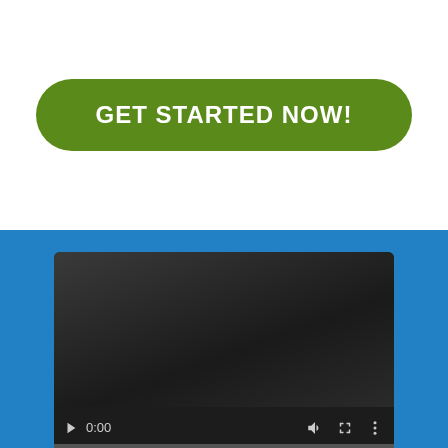[Figure (screenshot): Green rounded call-to-action button with white bold text reading GET STARTED NOW! on a white background]
[Figure (screenshot): Video player UI on a blue background, showing a dark video screen with playback controls: play button, time display 0:00, volume icon, fullscreen icon, and more options icon, with a progress bar at the bottom]